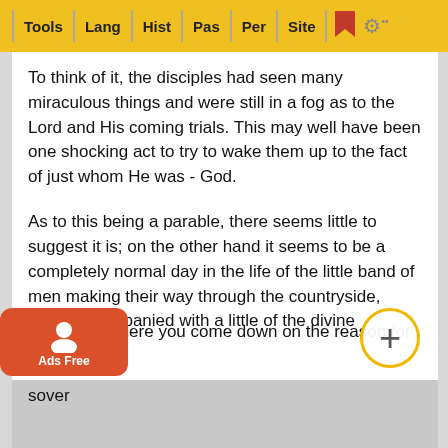Tools | Lang | Hist | Pas | Per | Site
To think of it, the disciples had seen many miraculous things and were still in a fog as to the Lord and His coming trials. This may well have been one shocking act to try to wake them up to the fact of just whom He was - God.
As to this being a parable, there seems little to suggest it is; on the other hand it seems to be a completely normal day in the life of the little band of men making their way through the countryside, albeit accompanied with a little of the divine supernatural.
It most certainly would have been an act for them to remember in coming days when they would have tremendous needs and it would have brought them to pray with faith knowing that their prayers were going to be answered.
No matter where you come down on the reason for this situation, sover...